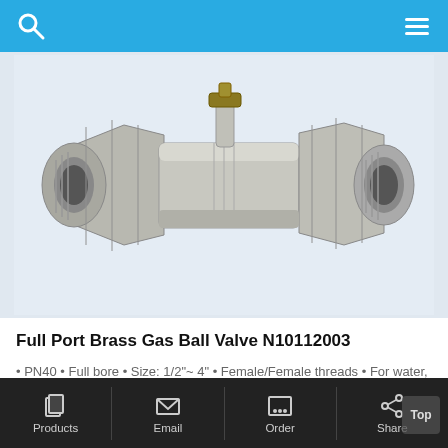[Figure (photo): Full Port Brass Gas Ball Valve N10112003 - a nickel-plated brass ball valve with female threaded ends on both sides and a small lever handle on top, shown on a light blue-grey background.]
Full Port Brass Gas Ball Valve N10112003
• PN40 • Full bore • Size: 1/2"~ 4" • Female/Female threads • For water, oil and gas • Quality standard: EN331, EN228-1 • End connections: BSP, NPT
[Figure (photo): Partial view of another valve product image (cropped at bottom of page).]
Products   Email   Order   Share